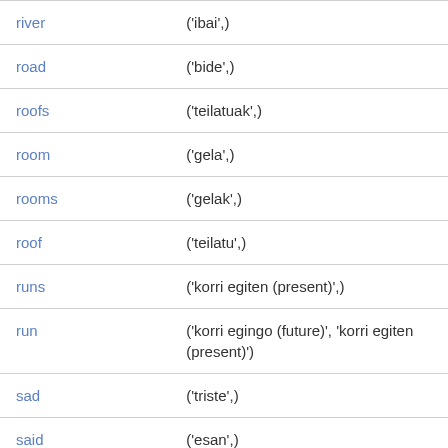| river | ('ibai',) |
| road | ('bide',) |
| roofs | ('teilatuak',) |
| room | ('gela',) |
| rooms | ('gelak',) |
| roof | ('teilatu',) |
| runs | ('korri egiten (present)',) |
| run | ('korri egingo (future)', 'korri egiten (present)') |
| sad | ('triste',) |
| said | ('esan',) |